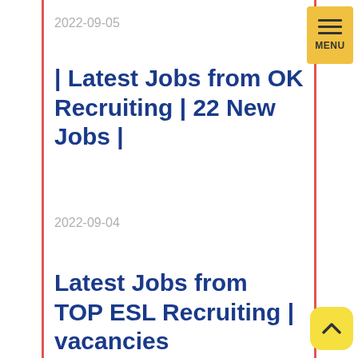2022-09-05
| Latest Jobs from OK Recruiting | 22 New Jobs |
2022-09-04
Latest Jobs from TOP ESL Recruiting | vacancies